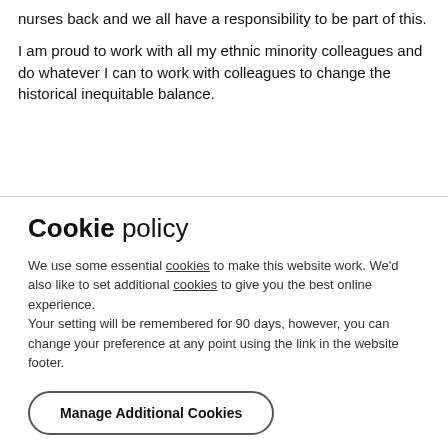nurses back and we all have a responsibility to be part of this.
I am proud to work with all my ethnic minority colleagues and do whatever I can to work with colleagues to change the historical inequitable balance.
Cookie policy
We use some essential cookies to make this website work. We'd also like to set additional cookies to give you the best online experience.
Your setting will be remembered for 90 days, however, you can change your preference at any point using the link in the website footer.
Manage Additional Cookies
Accept All Cookies